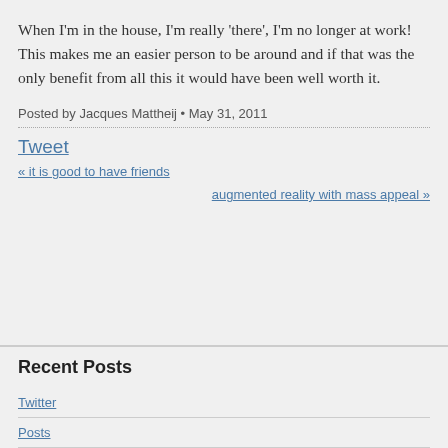When I'm in the house, I'm really 'there', I'm no longer at work! This makes me an easier person to be around and if that was the only benefit from all this it would have been well worth it.
Posted by Jacques Mattheij • May 31, 2011
Tweet
« it is good to have friends
augmented reality with mass appeal »
Recent Posts
Twitter
Posts